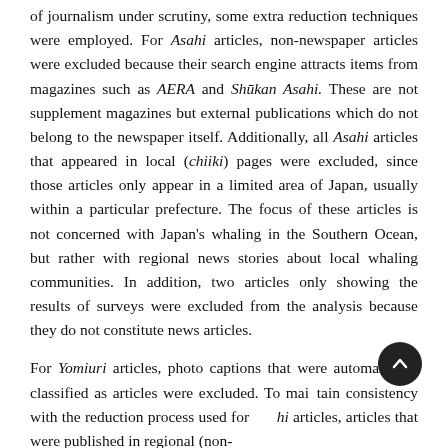of journalism under scrutiny, some extra reduction techniques were employed. For Asahi articles, non-newspaper articles were excluded because their search engine attracts items from magazines such as AERA and Shūkan Asahi. These are not supplement magazines but external publications which do not belong to the newspaper itself. Additionally, all Asahi articles that appeared in local (chiiki) pages were excluded, since those articles only appear in a limited area of Japan, usually within a particular prefecture. The focus of these articles is not concerned with Japan's whaling in the Southern Ocean, but rather with regional news stories about local whaling communities. In addition, two articles only showing the results of surveys were excluded from the analysis because they do not constitute news articles.
For Yomiuri articles, photo captions that were automatically classified as articles were excluded. To maintain consistency with the reduction process used for Asahi articles, articles that were published in regional (non-